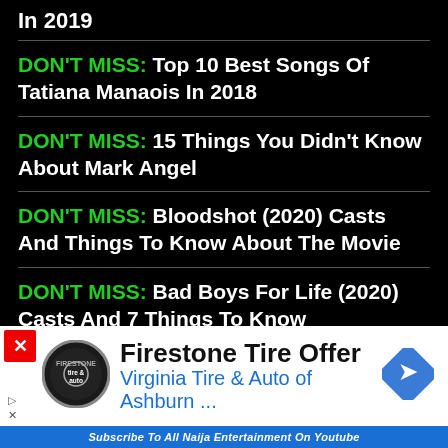In 2019
DON'T MISS: Top 10 Best Songs Of Tatiana Manaois In 2018
DON'T MISS: 15 Things You Didn't Know About Mark Angel
DON'T MISS: Bloodshot (2020) Casts And Things To Know About The Movie
DON'T MISS: Bad Boys For Life (2020) Casts And 7 Things To Know
DON'T MISS: Download & Install All Naija Entertainment App Into Your Android
[Figure (other): Advertisement banner for Firestone Tire Offer - Virginia Tire & Auto of Ashburn with logo and navigation icon]